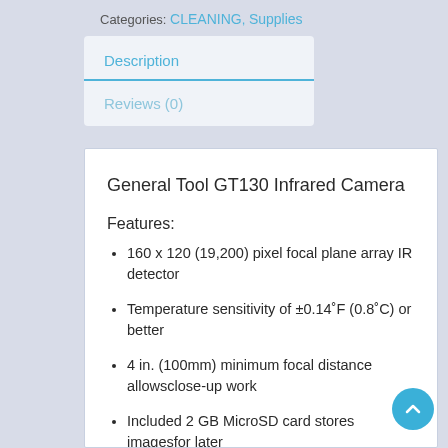Categories: CLEANING, Supplies
Description
Reviews (0)
General Tool GT130 Infrared Camera
Features:
160 x 120 (19,200) pixel focal plane array IR detector
Temperature sensitivity of ±0.14°F (0.8°C) or better
4 in. (100mm) minimum focal distance allowsclose-up work
Included 2 GB MicroSD card stores imagesfor later